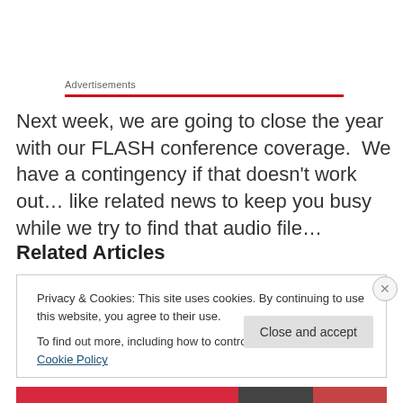Advertisements
Next week, we are going to close the year with our FLASH conference coverage.  We have a contingency if that doesn't work out… like related news to keep you busy while we try to find that audio file…
Related Articles
Privacy & Cookies: This site uses cookies. By continuing to use this website, you agree to their use.
To find out more, including how to control cookies, see here: Cookie Policy
Close and accept